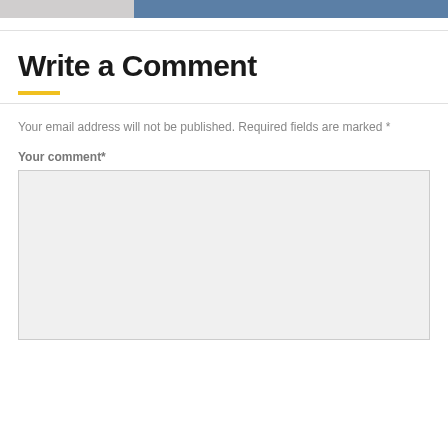[Figure (photo): Partial image strip at top showing two images side by side — left side grayish/white tones, right side blue sky tones]
Write a Comment
Your email address will not be published. Required fields are marked *
Your comment*